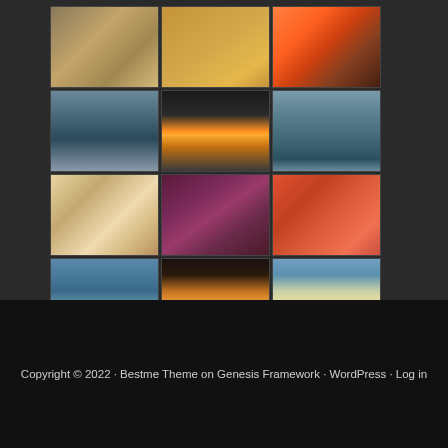[Figure (photo): A 4x3 grid gallery of 12 thumbnail photos showing food dishes, landscapes (mountains, sunset, ocean), and beach scenes on a dark background.]
Copyright © 2022 · Bestme Theme on Genesis Framework · WordPress · Log in